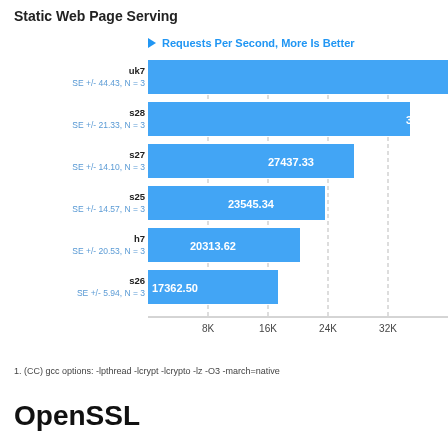Static Web Page Serving
[Figure (bar-chart): Requests Per Second, More Is Better]
1. (CC) gcc options: -lpthread -lcrypt -lcrypto -lz -O3 -march=native
OpenSSL